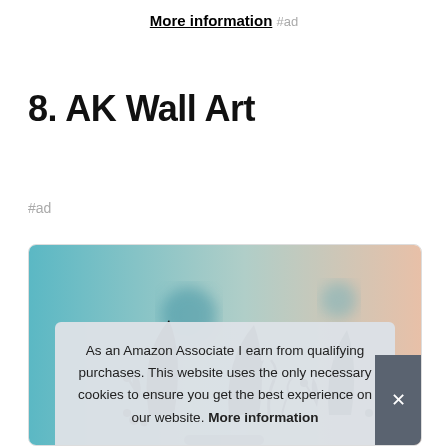More information #ad
8. AK Wall Art
#ad
[Figure (photo): Product image from AK Wall Art showing black decorative botanical silhouettes on a blurred teal and peach gradient background]
As an Amazon Associate I earn from qualifying purchases. This website uses the only necessary cookies to ensure you get the best experience on our website. More information